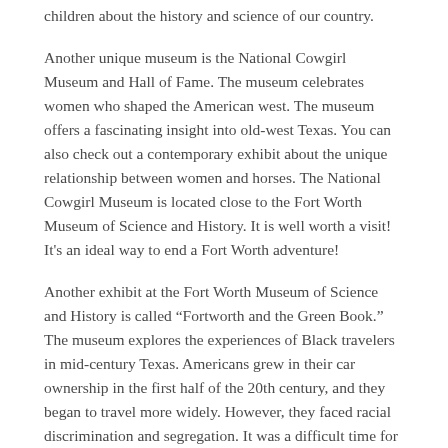children about the history and science of our country.
Another unique museum is the National Cowgirl Museum and Hall of Fame. The museum celebrates women who shaped the American west. The museum offers a fascinating insight into old-west Texas. You can also check out a contemporary exhibit about the unique relationship between women and horses. The National Cowgirl Museum is located close to the Fort Worth Museum of Science and History. It is well worth a visit! It's an ideal way to end a Fort Worth adventure!
Another exhibit at the Fort Worth Museum of Science and History is called “Fortworth and the Green Book.” The museum explores the experiences of Black travelers in mid-century Texas. Americans grew in their car ownership in the first half of the 20th century, and they began to travel more widely. However, they faced racial discrimination and segregation. It was a difficult time for African Americans to travel.